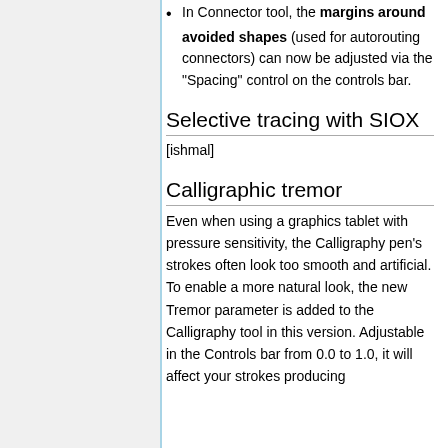In Connector tool, the margins around avoided shapes (used for autorouting connectors) can now be adjusted via the "Spacing" control on the controls bar.
Selective tracing with SIOX
[ishmal]
Calligraphic tremor
Even when using a graphics tablet with pressure sensitivity, the Calligraphy pen's strokes often look too smooth and artificial. To enable a more natural look, the new Tremor parameter is added to the Calligraphy tool in this version. Adjustable in the Controls bar from 0.0 to 1.0, it will affect your strokes producing